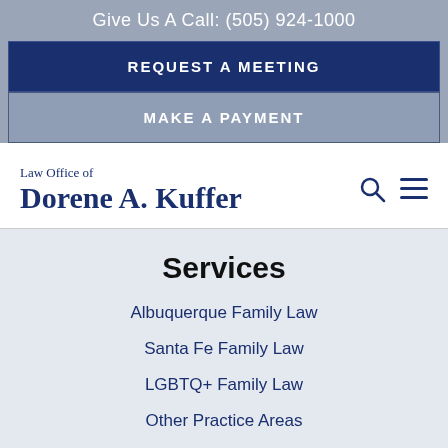Give Us A Call: (505) 924-1000
REQUEST A MEETING
MAKE A PAYMENT
Law Office of Dorene A. Kuffer
Services
Albuquerque Family Law
Santa Fe Family Law
LGBTQ+ Family Law
Other Practice Areas
Albuquerque Office